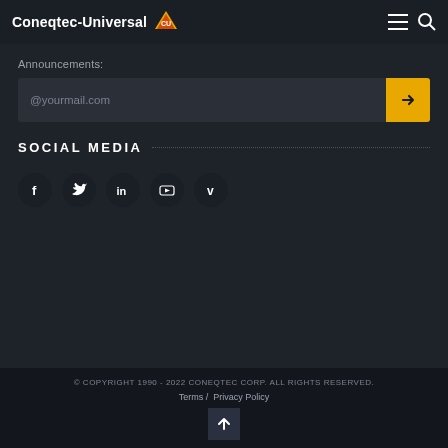Coneqtec-Universal
Announcements:
@yourmail.com
SOCIAL MEDIA
[Figure (other): Social media icons: Facebook, Twitter, LinkedIn, YouTube, Vimeo]
© COPYRIGHT 1990 - 2022 CONEQTEC CORP. ALL RIGHTS RESERVED. Terms / Privacy Policy